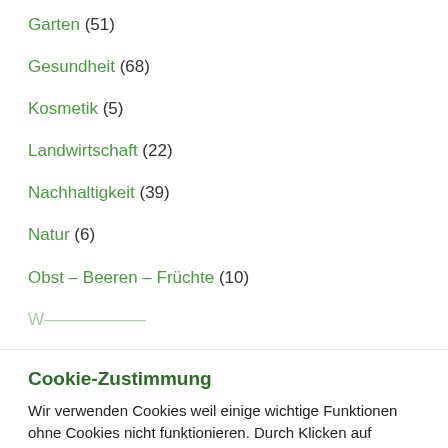Garten (51)
Gesundheit (68)
Kosmetik (5)
Landwirtschaft (22)
Nachhaltigkeit (39)
Natur (6)
Obst – Beeren – Früchte (10)
Cookie-Zustimmung
Wir verwenden Cookies weil einige wichtige Funktionen ohne Cookies nicht funktionieren. Durch Klicken auf "Akzeptieren", erklären Sie sich mit der Nutzung alle Cookies einverstanden. Unter "Cookie Settings" sind die einzelnen Informationen dazu aufgeführt.
Einstellungen und Informationen
Akzeptieren